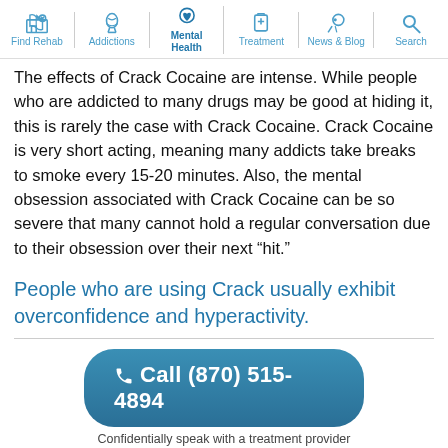Find Rehab | Addictions | Mental Health | Treatment | News & Blog | Search
The effects of Crack Cocaine are intense. While people who are addicted to many drugs may be good at hiding it, this is rarely the case with Crack Cocaine. Crack Cocaine is very short acting, meaning many addicts take breaks to smoke every 15-20 minutes. Also, the mental obsession associated with Crack Cocaine can be so severe that many cannot hold a regular conversation due to their obsession over their next “hit.”
People who are using Crack usually exhibit overconfidence and hyperactivity.
Call (870) 515-4894
Confidentially speak with a treatment provider